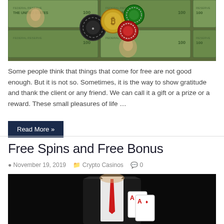[Figure (photo): Photo of casino chips (black, red, green, and a Bitcoin coin) on top of US dollar bills]
Some people think that things that come for free are not good enough. But it is not so. Sometimes, it is the way to show gratitude and thank the client or any friend. We can call it a gift or a prize or a reward. These small pleasures of life …
Read More »
Free Spins and Free Bonus
November 19, 2019  Crypto Casinos  0
[Figure (photo): Photo of a casino dealer in a suit holding playing cards (aces) against a dark background]